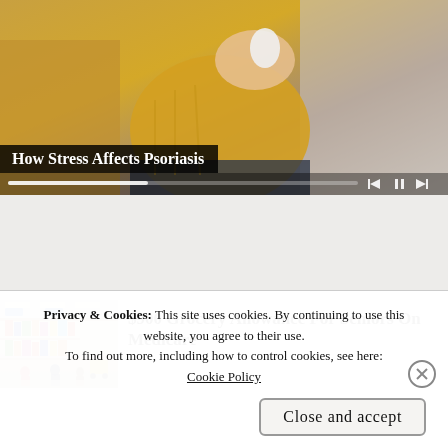[Figure (screenshot): Video thumbnail showing a person in a yellow sweater sitting on a couch, with video playback controls (rewind, pause, forward) and a progress bar at the bottom]
How Stress Affects Psoriasis
[Figure (photo): Advertisement image showing a grocery store aisle with shoppers]
$900 Grocery Allowance For Seniors On Medicare
Privacy & Cookies: This site uses cookies. By continuing to use this website, you agree to their use.
To find out more, including how to control cookies, see here: Cookie Policy
Close and accept